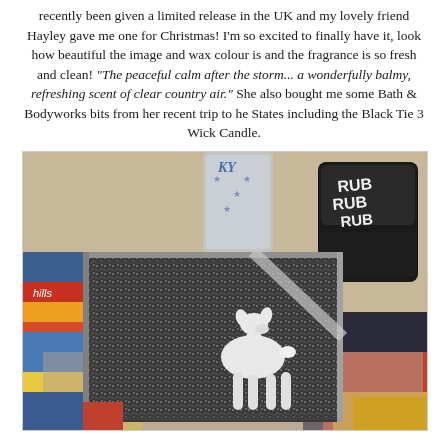recently been given a limited release in the UK and my lovely friend Hayley gave me one for Christmas! I'm so excited to finally have it, look how beautiful the image and wax colour is and the fragrance is so fresh and clean! "The peaceful calm after the storm... a wonderfully balmy, refreshing scent of clear country air." She also bought me some Bath & Bodyworks bits from her recent trip to he States including the Black Tie 3 Wick Candle.
[Figure (photo): A glittery silver-dark square candle or compact with a white deer silhouette on top, surrounded by glasses, a dark jar labeled 'RUB RUB RUB', and colorful magazine pages in the background.]